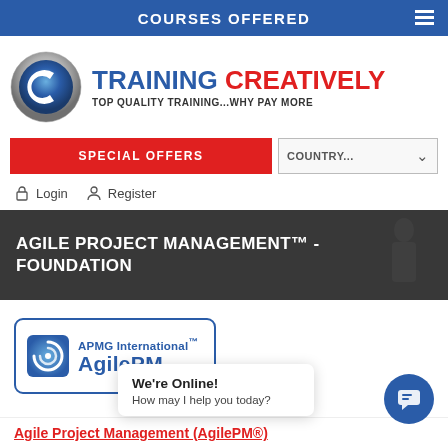COURSES OFFERED
[Figure (logo): Training Creatively logo with circular C icon, text 'TRAINING CREATIVELY' and tagline 'TOP QUALITY TRAINING...WHY PAY MORE']
SPECIAL OFFERS
COUNTRY...
Login
Register
AGILE PROJECT MANAGEMENT™ - FOUNDATION
[Figure (logo): APMG International AgilePM logo in blue bordered rounded rectangle]
We're Online!
How may I help you today?
Agile Project Management (AgilePM®)